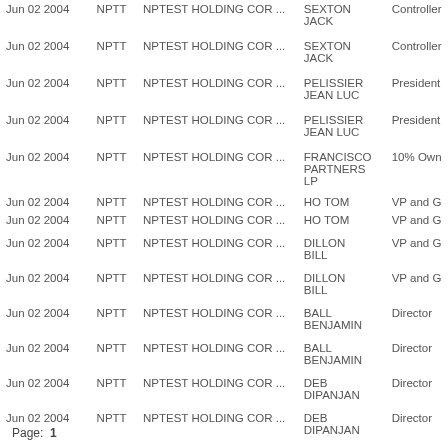| Date | Ticker | Company | Person | Role |
| --- | --- | --- | --- | --- |
| Jun 02 2004 | NPTT | NPTEST HOLDING COR ... | SEXTON JACK | Controller |
| Jun 02 2004 | NPTT | NPTEST HOLDING COR ... | SEXTON JACK | Controller |
| Jun 02 2004 | NPTT | NPTEST HOLDING COR ... | PELISSIER JEAN LUC | President |
| Jun 02 2004 | NPTT | NPTEST HOLDING COR ... | PELISSIER JEAN LUC | President |
| Jun 02 2004 | NPTT | NPTEST HOLDING COR ... | FRANCISCO PARTNERS LP | 10% Own |
| Jun 02 2004 | NPTT | NPTEST HOLDING COR ... | HO TOM | VP and G |
| Jun 02 2004 | NPTT | NPTEST HOLDING COR ... | HO TOM | VP and G |
| Jun 02 2004 | NPTT | NPTEST HOLDING COR ... | DILLON BILL | VP and G |
| Jun 02 2004 | NPTT | NPTEST HOLDING COR ... | DILLON BILL | VP and G |
| Jun 02 2004 | NPTT | NPTEST HOLDING COR ... | BALL BENJAMIN | Director |
| Jun 02 2004 | NPTT | NPTEST HOLDING COR ... | BALL BENJAMIN | Director |
| Jun 02 2004 | NPTT | NPTEST HOLDING COR ... | DEB DIPANJAN | Director |
| Jun 02 2004 | NPTT | NPTEST HOLDING COR ... | DEB DIPANJAN | Director |
Page:  1